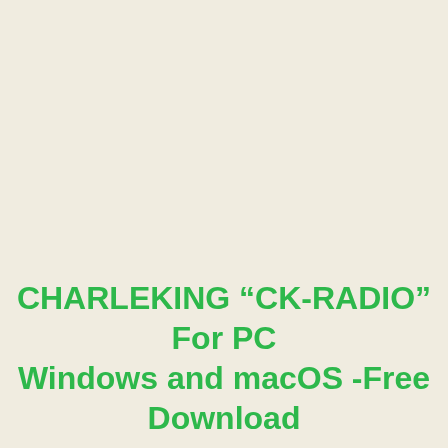CHARLEKING “CK-RADIO” For PC Windows and macOS -Free Download